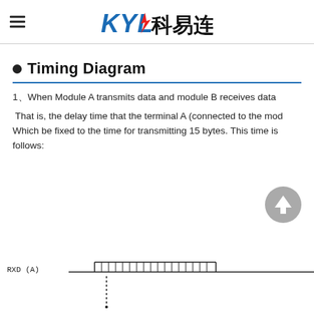KYL 科易连
Timing Diagram
1、When Module A transmits data and module B receives data
That is, the delay time that the terminal A (connected to the mod Which be fixed to the time for transmitting 15 bytes. This time is follows:
[Figure (engineering-diagram): Timing diagram showing RXD(A) signal waveform with digital pulses, partial view at bottom of page]